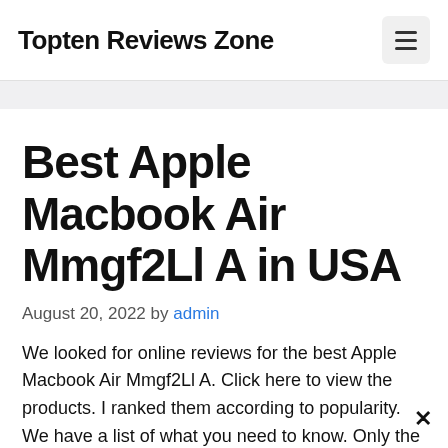Topten Reviews Zone
Best Apple Macbook Air Mmgf2Ll A in USA
August 20, 2022 by admin
We looked for online reviews for the best Apple Macbook Air Mmgf2Ll A. Click here to view the products. I ranked them according to popularity. We have a list of what you need to know. Only the most successful ones have been chosen. There are good for the